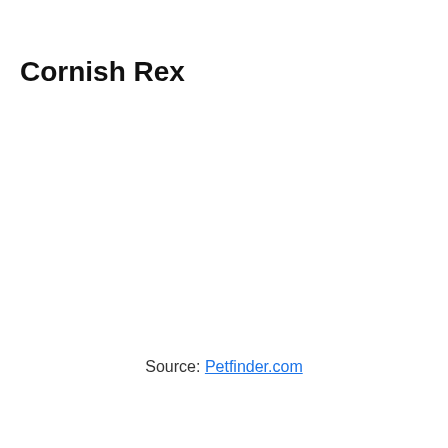Cornish Rex
Source: Petfinder.com